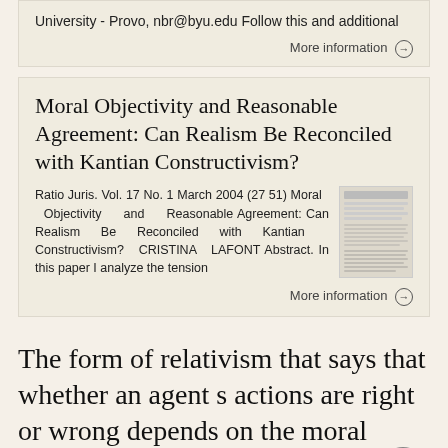University - Provo, nbr@byu.edu Follow this and additional
More information →
Moral Objectivity and Reasonable Agreement: Can Realism Be Reconciled with Kantian Constructivism?
Ratio Juris. Vol. 17 No. 1 March 2004 (27 51) Moral Objectivity and Reasonable Agreement: Can Realism Be Reconciled with Kantian Constructivism? CRISTINA LAFONT Abstract. In this paper I analyze the tension
[Figure (screenshot): Thumbnail image of a document page]
More information →
The form of relativism that says that whether an agent s actions are right or wrong depends on the moral principles